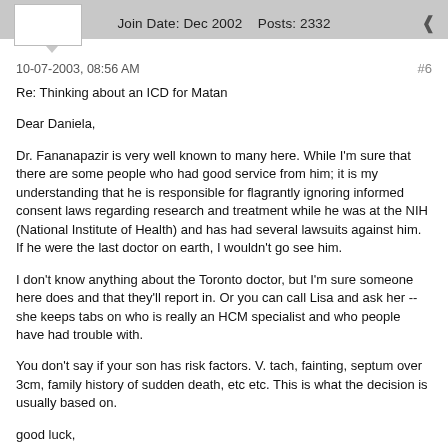Join Date: Dec 2002   Posts: 2332
10-07-2003, 08:56 AM
#6
Re: Thinking about an ICD for Matan
Dear Daniela,

Dr. Fananapazir is very well known to many here. While I'm sure that there are some people who had good service from him; it is my understanding that he is responsible for flagrantly ignoring informed consent laws regarding research and treatment while he was at the NIH (National Institute of Health) and has had several lawsuits against him. If he were the last doctor on earth, I wouldn't go see him.

I don't know anything about the Toronto doctor, but I'm sure someone here does and that they'll report in. Or you can call Lisa and ask her --she keeps tabs on who is really an HCM specialist and who people have had trouble with.

You don't say if your son has risk factors. V. tach, fainting, septum over 3cm, family history of sudden death, etc etc. This is what the decision is usually based on.

good luck,

S